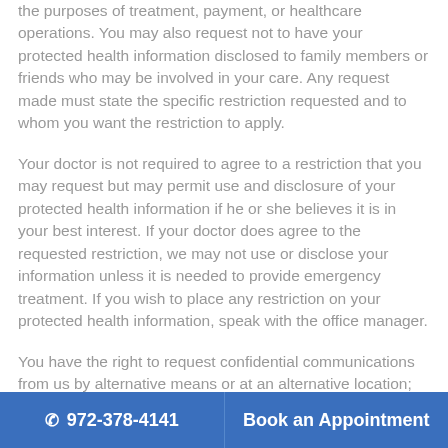the purposes of treatment, payment, or healthcare operations. You may also request not to have your protected health information disclosed to family members or friends who may be involved in your care. Any request made must state the specific restriction requested and to whom you want the restriction to apply.
Your doctor is not required to agree to a restriction that you may request but may permit use and disclosure of your protected health information if he or she believes it is in your best interest. If your doctor does agree to the requested restriction, we may not use or disclose your information unless it is needed to provide emergency treatment. If you wish to place any restriction on your protected health information, speak with the office manager.
You have the right to request confidential communications from us by alternative means or at an alternative location; we will accommodate reasonable requests. We will not
972-378-4141   Book an Appointment